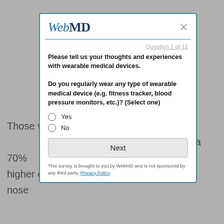[Figure (screenshot): WebMD survey modal dialog with logo, close button, question counter, survey question about wearable medical devices, Yes/No radio options, Next button, and privacy policy footer note.]
Those w... d a 70% higher ch... nose
Question 1 of 11
Please tell us your thoughts and experiences with wearable medical devices. Do you regularly wear any type of wearable medical device (e.g. fitness tracker, blood pressure monitors, etc.)? (Select one)
Yes
No
Next
This survey is brought to you by WebMD and is not sponsored by any third party. Privacy Policy